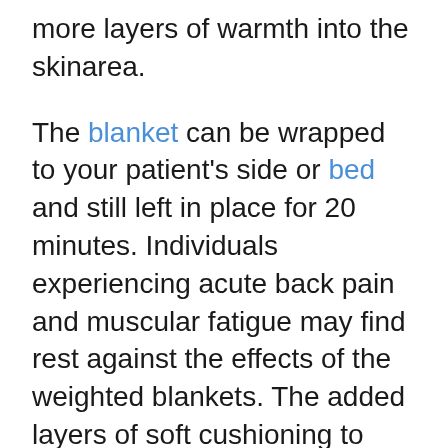more layers of warmth into the skinarea.
The blanket can be wrapped to your patient's side or bed and still left in place for 20 minutes. Individuals experiencing acute back pain and muscular fatigue may find rest against the effects of the weighted blankets. The added layers of soft cushioning to help alleviate stress and enhance the circulation of blood for a result of heat generated from the warmth part over the quilt.
A number of reports have indicated that using a weighted blanket may lower the repercussions of testosterone and estrogen, which can be proven to donate to sleeping disorders. The endocrine production and